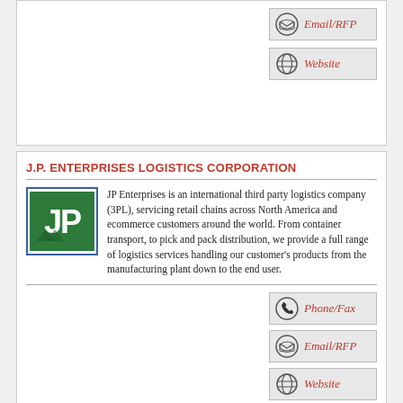[Figure (other): Email/RFP button with envelope icon]
[Figure (other): Website button with globe icon]
J.P. ENTERPRISES LOGISTICS CORPORATION
[Figure (logo): JP Enterprises logo - green background with JP letters]
JP Enterprises is an international third party logistics company (3PL), servicing retail chains across North America and ecommerce customers around the world. From container transport, to pick and pack distribution, we provide a full range of logistics services handling our customer's products from the manufacturing plant down to the end user.
[Figure (other): Phone/Fax button with phone icon]
[Figure (other): Email/RFP button with envelope icon]
[Figure (other): Website button with globe icon]
MANTORIA, INC.
At Mantoria, we combine our best-in-class logistics